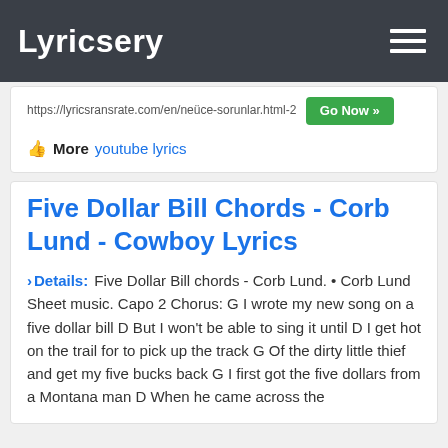Lyricsery
https://lyricsransrate.com/en/neüce-sorunlar.html-2  Go Now »
👍 More  youtube lyrics
Five Dollar Bill Chords - Corb Lund - Cowboy Lyrics
Details: Five Dollar Bill chords - Corb Lund. • Corb Lund Sheet music. Capo 2 Chorus: G I wrote my new song on a five dollar bill D But I won't be able to sing it until D I get hot on the trail for to pick up the track G Of the dirty little thief and get my five bucks back G I first got the five dollars from a Montana man D When he came across the